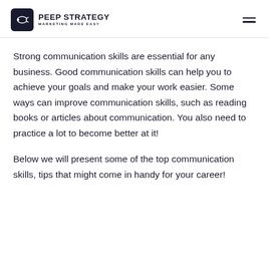PEEP STRATEGY MARKETING MADE EASY
Strong communication skills are essential for any business. Good communication skills can help you to achieve your goals and make your work easier. Some ways can improve communication skills, such as reading books or articles about communication. You also need to practice a lot to become better at it!
Below we will present some of the top communication skills, tips that might come in handy for your career!